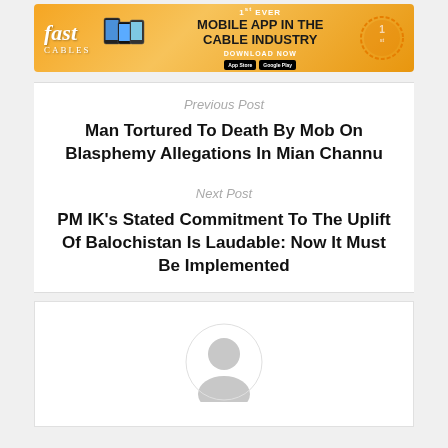[Figure (other): Fast Cables advertisement banner with orange/gold background, mobile app promotion text reading '1st EVER MOBILE APP IN THE CABLE INDUSTRY DOWNLOAD NOW']
Previous Post
Man Tortured To Death By Mob On Blasphemy Allegations In Mian Channu
Next Post
PM IK's Stated Commitment To The Uplift Of Balochistan Is Laudable: Now It Must Be Implemented
[Figure (illustration): Generic user avatar/profile icon placeholder in gray]